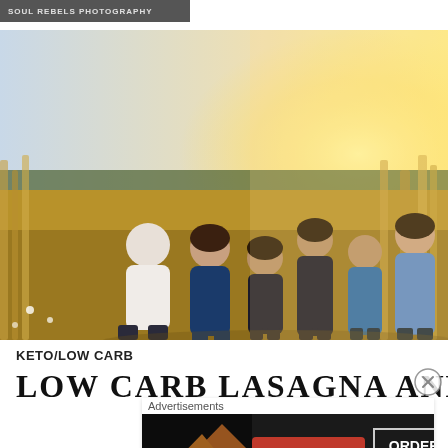SOUL REBELS PHOTOGRAPHY
[Figure (photo): Family of six standing together in a golden field at sunset. A man in white shirt, a woman in navy, three girls and a teenage boy in dark and blue clothing.]
KETO/LOW CARB
LOW CARB LASAGNA AND
[Figure (photo): Seamless food delivery advertisement banner showing pizza slices on left, Seamless red logo in center, and ORDER NOW button on right with dark background.]